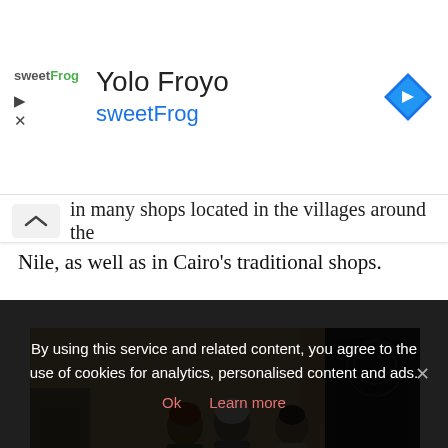[Figure (screenshot): Advertisement banner for 'Yolo Froyo' by sweetFrog with logo, play and close icons, and a blue navigation diamond icon on the right.]
in many shops located in the villages around the Nile, as well as in Cairo's traditional shops.
[Figure (photo): Three men sitting on a low wall outside a building with an ornate dark wooden door, in Egypt. The men are wearing traditional Egyptian clothing including a turban and galabiya.]
By using this service and related content, you agree to the use of cookies for analytics, personalised content and ads. Ok  Learn more